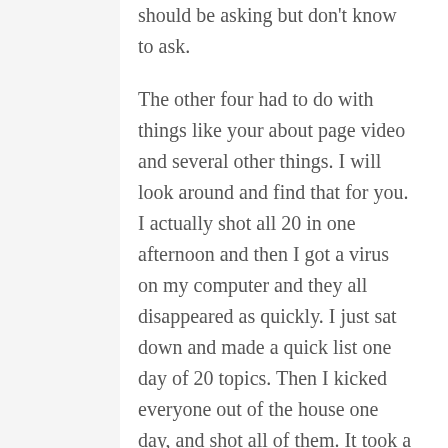should be asking but don't know to ask.
The other four had to do with things like your about page video and several other things. I will look around and find that for you. I actually shot all 20 in one afternoon and then I got a virus on my computer and they all disappeared as quickly. I just sat down and made a quick list one day of 20 topics. Then I kicked everyone out of the house one day, and shot all of them. It took a couple of hours and I was done. I am going to re-do mine on...